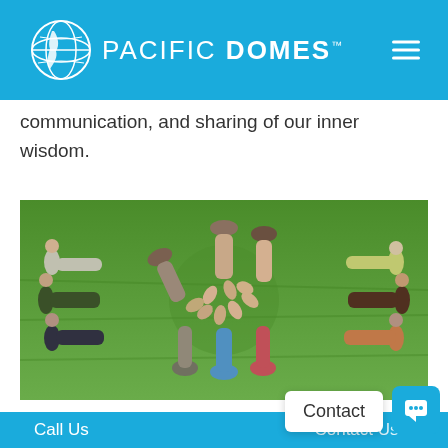PACIFIC DOMES™
communication, and sharing of our inner wisdom.
[Figure (photo): Aerial view of a group of people lying in a circle on green grass, with their feet pointing toward the center, forming a human star/wheel pattern. The scene appears to be a community or team-building activity outdoors.]
Teamwork
Call Us | Contact Us